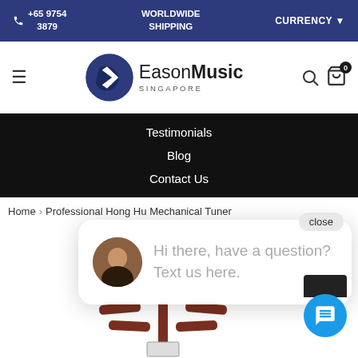+65 9754 3879  WORLDWIDE SHIPPING  CURRENCY ▼
[Figure (logo): Eason Music Singapore logo with circular blue emblem]
Testimonials
Blog
Contact Us
Home › Professional Hong Hu... Mechanical Tuner
[Figure (photo): Chat popup with avatar photo: Hi there, have a question? Text us here.]
[Figure (photo): Partial product image of a wooden mechanical tuner/instrument head]